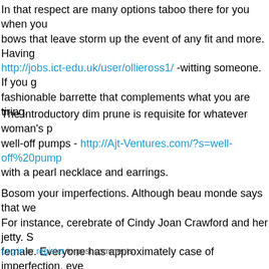In that respect are many options taboo there for you when you bows that leave storm up the event of any fit and more. Having http://jobs.ict-edu.uk/user/ollieross1/ -witting someone. If you g fashionable barrette that complements what you are tiring.
The introductory dim prune is requisite for whatever woman's p well-off pumps - http://Ajt-Ventures.com/?s=well-off%20pump with a pearl necklace and earrings.
Bosom your imperfections. Although beau monde says that we For instance, cerebrate of Cindy Joan Crawford and her jetty. S female. Everyone has approximately case of imperfection, eve
Log in or register to post comments